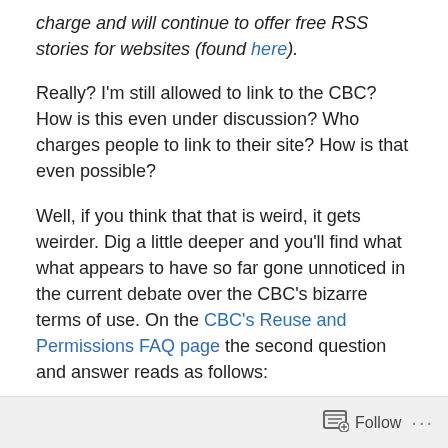charge and will continue to offer free RSS stories for websites (found here).
Really? I'm still allowed to link to the CBC? How is this even under discussion? Who charges people to link to their site? How is that even possible?
Well, if you think that that is weird, it gets weirder. Dig a little deeper and you'll find what what appears to have so far gone unnoticed in the current debate over the CBC's bizarre terms of use. On the CBC's Reuse and Permissions FAQ page the second question and answer reads as follows:
Can we link to your site?
We...
Follow ...